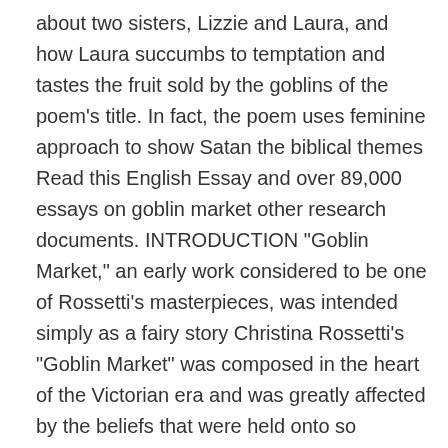about two sisters, Lizzie and Laura, and how Laura succumbs to temptation and tastes the fruit sold by the goblins of the poem's title. In fact, the poem uses feminine approach to show Satan the biblical themes Read this English Essay and over 89,000 essays on goblin market other research documents. INTRODUCTION "Goblin Market," an early work considered to be one of Rossetti's masterpieces, was intended simply as a fairy story Christina Rossetti's “Goblin Market” was composed in the heart of the Victorian era and was greatly affected by the beliefs that were held onto so strongly in that time. However, the poem is aimed at adults since Ross. The Goblin Market is about two sisters, Lizzie and Laura, and the goblins that they encounter while fetching water down by the river one evening. I ordered two Goblin Market Essay Topics papers and